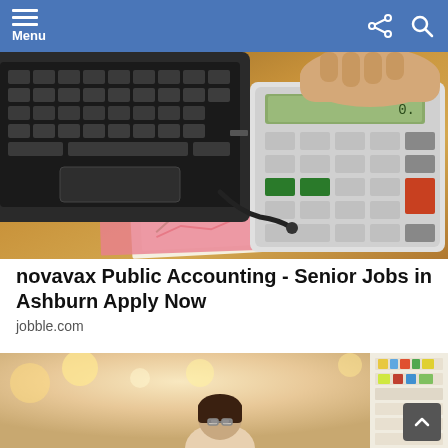Menu
[Figure (photo): Close-up photo of a person using a calculator next to a laptop keyboard on a wooden desk with papers and charts underneath]
novavax Public Accounting - Senior Jobs in Ashburn Apply Now
jobble.com
[Figure (photo): Photo of a person with dark hair browsing store shelves in a brightly lit retail or pharmacy store]